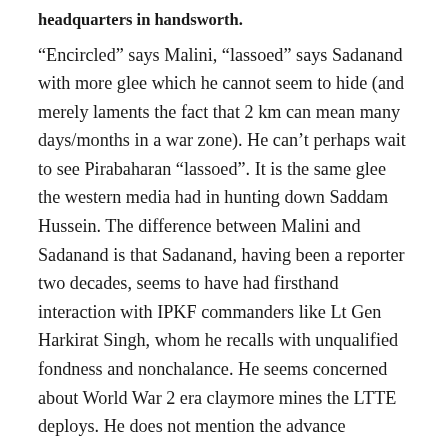headquarters in handsworth.
“Encircled” says Malini, “lassoed” says Sadanand with more glee which he cannot seem to hide (and merely laments the fact that 2 km can mean many days/months in a war zone). He can’t perhaps wait to see Pirabaharan “lassoed”. It is the same glee the western media had in hunting down Saddam Hussein. The difference between Malini and Sadanand is that Sadanand, having been a reporter two decades, seems to have had firsthand interaction with IPKF commanders like Lt Gen Harkirat Singh, whom he recalls with unqualified fondness and nonchalance. He seems concerned about World War 2 era claymore mines the LTTE deploys. He does not mention the advance technology that the Indian state has supplied and been supplying to the Lankan military primarily to pulp civilian Tamils besides attack the LTTE. He is not concerned about the role of the Indian army, navy and intelligence in abetting the genocide against Tamils. It seems like he’s affected by films and